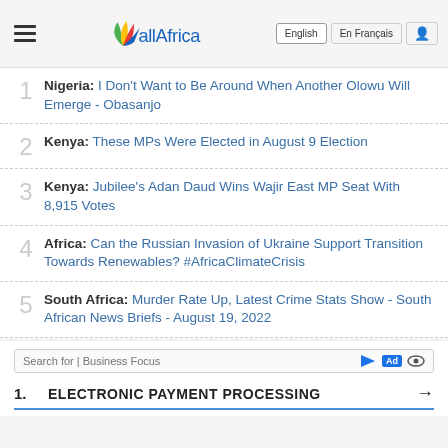allAfrica - English / En Français navigation header
1. Nigeria: I Don't Want to Be Around When Another Olowu Will Emerge - Obasanjo
2. Kenya: These MPs Were Elected in August 9 Election
3. Kenya: Jubilee's Adan Daud Wins Wajir East MP Seat With 8,915 Votes
4. Africa: Can the Russian Invasion of Ukraine Support Transition Towards Renewables? #AfricaClimateCrisis
5. South Africa: Murder Rate Up, Latest Crime Stats Show - South African News Briefs - August 19, 2022
Search for | Business Focus - Ad - 1. ELECTRONIC PAYMENT PROCESSING →